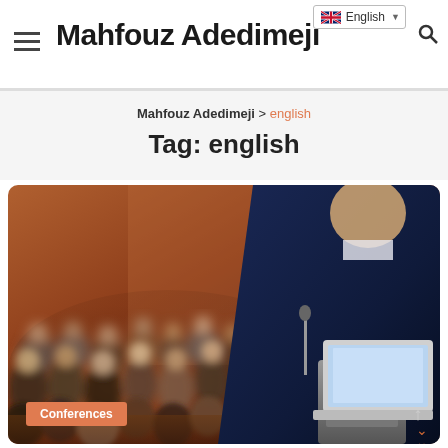Mahfouz Adedimeji
Mahfouz Adedimeji > english
Tag: english
[Figure (photo): A speaker at a podium with a laptop addresses an audience in a conference hall. View from behind the speaker. A 'Conferences' badge label appears at bottom-left of image.]